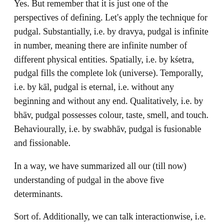Yes. But remember that it is just one of the perspectives of defining. Let's apply the technique for pudgal. Substantially, i.e. by dravya, pudgal is infinite in number, meaning there are infinite number of different physical entities. Spatially, i.e. by kśetra, pudgal fills the complete lok (universe). Temporally, i.e. by kāl, pudgal is eternal, i.e. without any beginning and without any end. Qualitatively, i.e. by bhāv, pudgal possesses colour, taste, smell, and touch. Behaviourally, i.e. by swabhāv, pudgal is fusionable and fissionable.
In a way, we have summarized all our (till now) understanding of pudgal in the above five determinants.
Sort of. Additionally, we can talk interactionwise, i.e. about pudgal's interaction with soul. pudgal is capable of being taken in and transformed by soul in eight forms. Five in form of the five types of bodies, we have already discussed, while discussing variety of living beings.